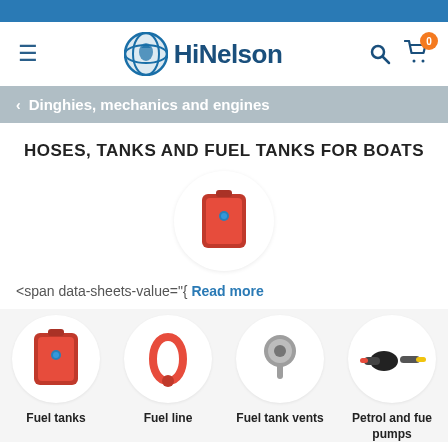[Figure (screenshot): Top blue decorative bar]
HiNelson — hamburger menu, logo, search and cart icons
< Dinghies, mechanics and engines
HOSES, TANKS AND FUEL TANKS FOR BOATS
[Figure (photo): Orange/red portable fuel tank product image in circular white background]
<span data-sheets-value="{ Read more
[Figure (photo): Fuel tanks product circular thumbnail]
[Figure (photo): Fuel line product circular thumbnail]
[Figure (photo): Fuel tank vents product circular thumbnail]
[Figure (photo): Petrol and fuel pumps product circular thumbnail]
Fuel tanks
Fuel line
Fuel tank vents
Petrol and fue pumps